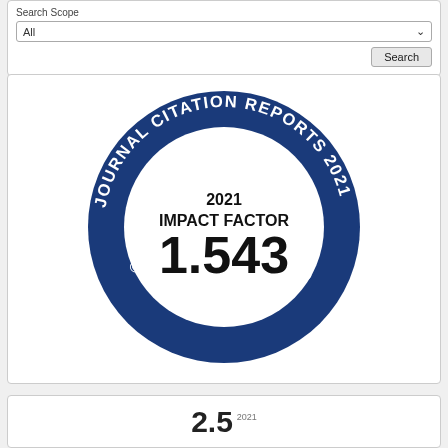Search Scope
All
Search
[Figure (logo): Journal Citation Reports 2021 Impact Factor badge. A circular blue badge with white text reading 'JOURNAL CITATION REPORTS 2021' around the top arc and '© CLARIVATE ANALYTICS' around the bottom arc. Inside the circle on white background: '2021 IMPACT FACTOR' and large bold '1.543'.]
2.5 2021